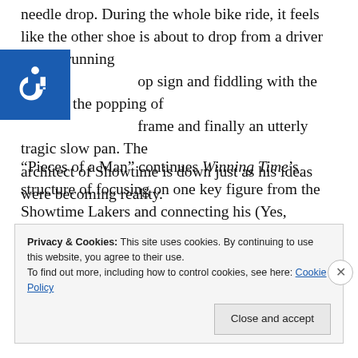needle drop. During the whole bike ride, it feels like the other shoe is about to drop from a driver almost running op sign and fiddling with the radio to the popping of frame and finally an utterly tragic slow pan. The architect of Showtime is down just as his ideas were becoming reality.

“Pieces of a Man” continues Winning Time’s structure of focusing on one key figure from the Showtime Lakers and connecting his (Yes, they’ve all been men up to this point.) journey to the franchise’s. This time it’s Kareem Abdul-Jabbar, and Rodney Barnes, Max Borenstein, and
[Figure (illustration): Blue square accessibility icon with wheelchair symbol in white]
Privacy & Cookies: This site uses cookies. By continuing to use this website, you agree to their use.
To find out more, including how to control cookies, see here: Cookie Policy